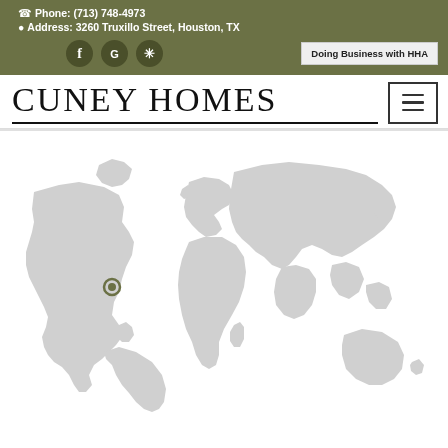Phone: (713) 748-4973 | Address: 3260 Truxillo Street, Houston, TX
CUNEY HOMES
Doing Business with HHA
[Figure (map): World map in light gray with a location marker pin on Houston, TX region (North America, southern USA/Mexico border area). The map shows all continents in a flat projection. A circular location marker is visible on the approximate location of Houston, Texas.]